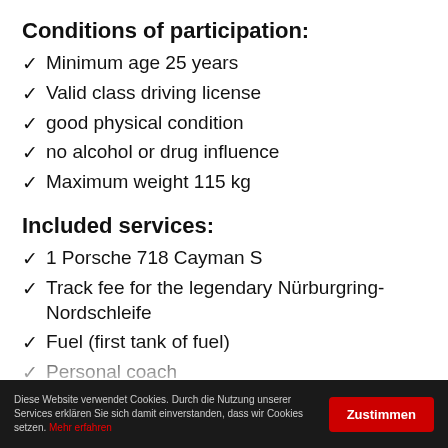Conditions of participation:
Minimum age 25 years
Valid class driving license
good physical condition
no alcohol or drug influence
Maximum weight 115 kg
Included services:
1 Porsche 718 Cayman S
Track fee for the legendary Nürburgring-Nordschleife
Fuel (first tank of fuel)
Personal coach
Helmet and balaclava (if desired)
Diese Website verwendet Cookies. Durch die Nutzung unserer Services erklären Sie sich damit einverstanden, dass wir Cookies setzen. Mehr erfahren